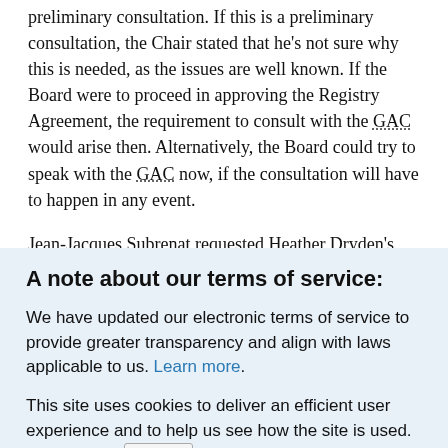preliminary consultation. If this is a preliminary consultation, the Chair stated that he's not sure why this is needed, as the issues are well known. If the Board were to proceed in approving the Registry Agreement, the requirement to consult with the GAC would arise then. Alternatively, the Board could try to speak with the GAC now, if the consultation will have to happen in any event.
Jean-Jacques Subrenat requested Heather Dryden's
A note about our terms of service:
We have updated our electronic terms of service to provide greater transparency and align with laws applicable to us. Learn more.
This site uses cookies to deliver an efficient user experience and to help us see how the site is used. Learn more.  ✕ OK